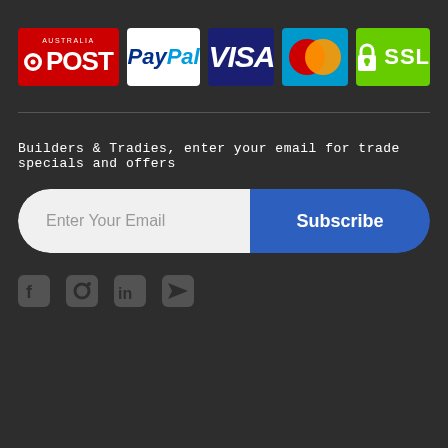[Figure (logo): Row of payment/trust logos: Australia Post, PayPal, Visa, Mastercard, SSL]
Builders & Tradies, enter your email for trade specials and offers
[Figure (other): Email subscription form with 'Enter Your Email' input and 'Subscribe' button]